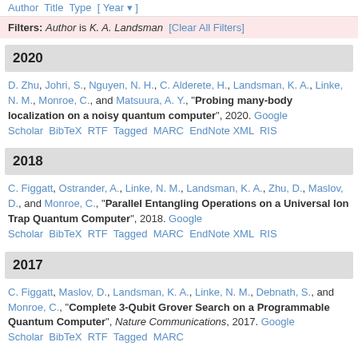Author Title Type [ Year ]
Filters: Author is K. A. Landsman [Clear All Filters]
2020
D. Zhu, Johri, S., Nguyen, N. H., C. Alderete, H., Landsman, K. A., Linke, N. M., Monroe, C., and Matsuura, A. Y., "Probing many-body localization on a noisy quantum computer", 2020. Google Scholar BibTeX RTF Tagged MARC EndNote XML RIS
2018
C. Figgatt, Ostrander, A., Linke, N. M., Landsman, K. A., Zhu, D., Maslov, D., and Monroe, C., "Parallel Entangling Operations on a Universal Ion Trap Quantum Computer", 2018. Google Scholar BibTeX RTF Tagged MARC EndNote XML RIS
2017
C. Figgatt, Maslov, D., Landsman, K. A., Linke, N. M., Debnath, S., and Monroe, C., "Complete 3-Qubit Grover Search on a Programmable Quantum Computer", Nature Communications, 2017. Google Scholar BibTeX RTF Tagged MARC